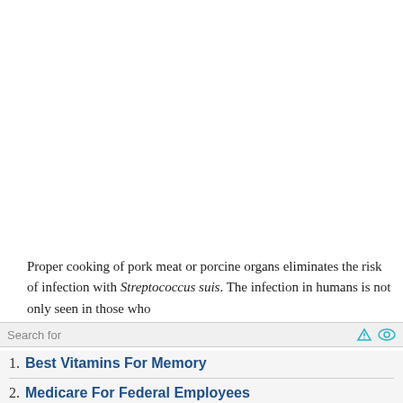Proper cooking of pork meat or porcine organs eliminates the risk of infection with Streptococcus suis. The infection in humans is not only seen in those who
Search for
1. Best Vitamins For Memory
2. Medicare For Federal Employees